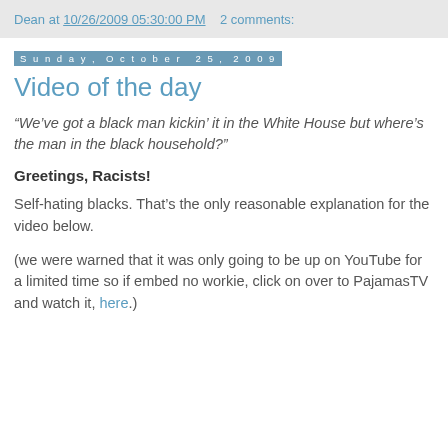Dean at 10/26/2009 05:30:00 PM   2 comments:
Sunday, October 25, 2009
Video of the day
“We’ve got a black man kickin’ it in the White House but where’s the man in the black household?”
Greetings, Racists!
Self-hating blacks. That’s the only reasonable explanation for the video below.
(we were warned that it was only going to be up on YouTube for a limited time so if embed no workie, click on over to PajamasTV and watch it, here.